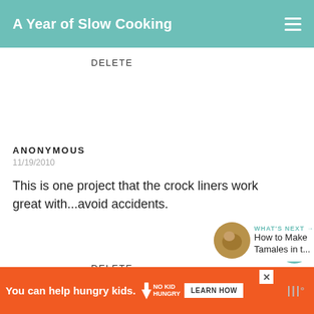A Year of Slow Cooking
DELETE
ANONYMOUS
11/19/2010
This is one project that the crock liners work great with...avoid accidents.
DELETE
WHAT'S NEXT → How to Make Tamales in t...
[Figure (infographic): Orange advertisement banner: 'You can help hungry kids.' with No Kid Hungry logo and LEARN HOW button]